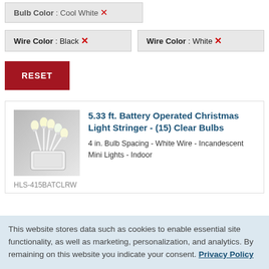Bulb Color : Cool White ×
Wire Color : Black ×
Wire Color : White ×
RESET
[Figure (photo): Photo of white Christmas light stringer with clear bulbs, showing several mini incandescent bulbs on white wire with a battery pack]
5.33 ft. Battery Operated Christmas Light Stringer - (15) Clear Bulbs
4 in. Bulb Spacing - White Wire - Incandescent Mini Lights - Indoor
HLS-415BATCLRW
This website stores data such as cookies to enable essential site functionality, as well as marketing, personalization, and analytics. By remaining on this website you indicate your consent. Privacy Policy